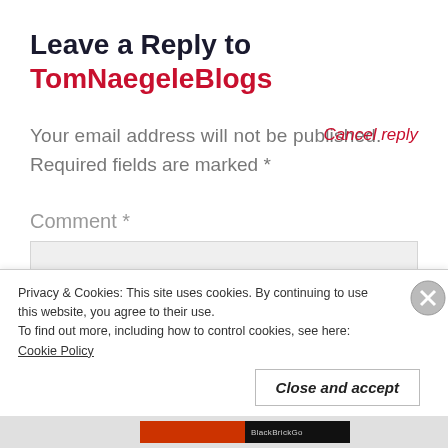Leave a Reply to TomNaegeleBlogs
Your email address will not be published. Cancel reply
Required fields are marked *
Comment *
Privacy & Cookies: This site uses cookies. By continuing to use this website, you agree to their use.
To find out more, including how to control cookies, see here: Cookie Policy
Close and accept